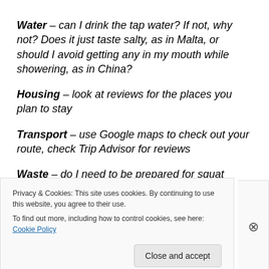Water – can I drink the tap water? If not, why not? Does it just taste salty, as in Malta, or should I avoid getting any in my mouth while showering, as in China?
Housing – look at reviews for the places you plan to stay
Transport – use Google maps to check out your route, check Trip Advisor for reviews
Waste – do I need to be prepared for squat toilets? (yes,
Privacy & Cookies: This site uses cookies. By continuing to use this website, you agree to their use.
To find out more, including how to control cookies, see here: Cookie Policy
Close and accept